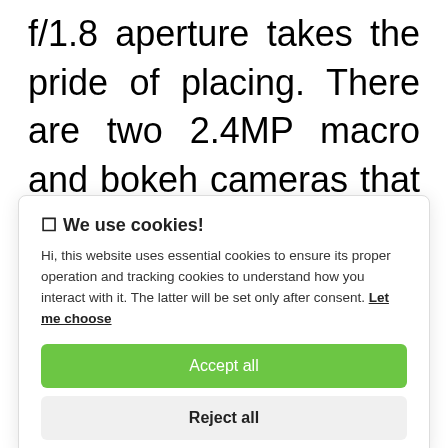f/1.8 aperture takes the pride of placing. There are two 2.4MP macro and bokeh cameras that enable super macro and portrait shots respectively. For the Vloggers, there is a dual front and back
[Figure (screenshot): Cookie consent popup overlay with title 'We use cookies!', body text about essential and tracking cookies, 'Let me choose' link, 'Accept all' green button, and 'Reject all' grey button.]
meter. Even though a wide-angle camera